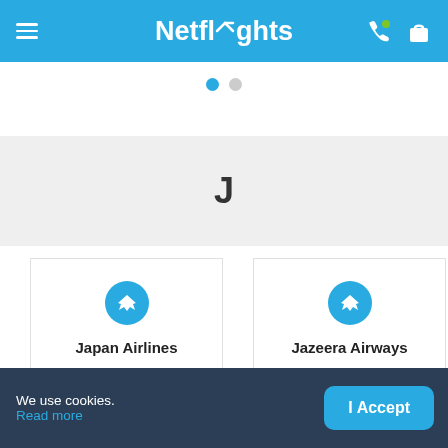Netflights
J
Japan Airlines
Baggage allowance
Manage my booking
Jazeera Airways
Baggage allowance
Manage my booking
We use cookies.
Read more
I Accept